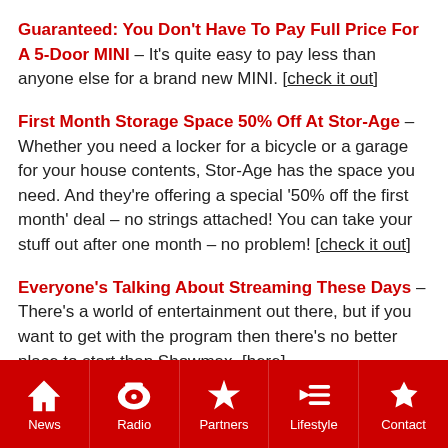Guaranteed: You Don't Have To Pay Full Price For A 5-Door MINI – It's quite easy to pay less than anyone else for a brand new MINI. [check it out]
First Month Storage Space 50% Off At Stor-Age – Whether you need a locker for a bicycle or a garage for your house contents, Stor-Age has the space you need. And they're offering a special '50% off the first month' deal – no strings attached! You can take your stuff out after one month – no problem! [check it out]
Everyone's Talking About Streaming These Days – There's a world of entertainment out there, but if you want to get with the program then there's no better place to start than Showmax. [here]
News | Radio | Partners | Lifestyle | Contact